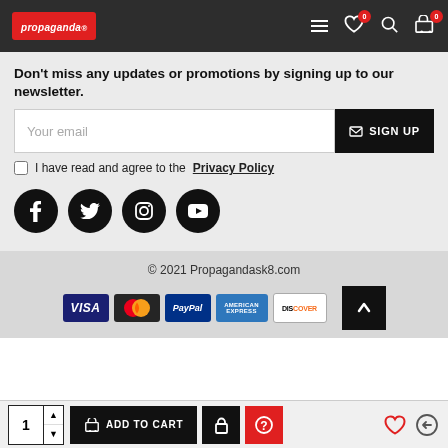Propagandask8 navigation bar with logo, hamburger menu, wishlist (0), search, and cart (0)
Don't miss any updates or promotions by signing up to our newsletter.
Your email [input] SIGN UP
I have read and agree to the Privacy Policy
[Figure (infographic): Four social media icons: Facebook, Twitter, Instagram, YouTube — black circular buttons]
© 2021 Propagandask8.com
[Figure (infographic): Payment method logos: VISA, Mastercard, PayPal, American Express, Discover]
1 [quantity selector] ADD TO CART [lock icon] [help icon] [wishlist] [return]